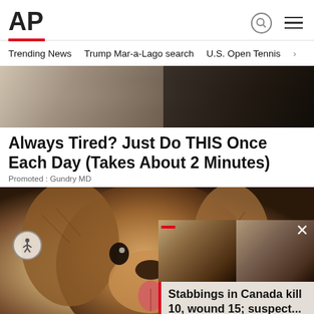AP
Trending News   Trump Mar-a-Lago search   U.S. Open Tennis
[Figure (photo): Advertisement image showing hands and dark liquid in a pot]
Always Tired? Just Do THIS Once Each Day (Takes About 2 Minutes)
Promoted : Gundry MD
[Figure (illustration): Illustrated cartoon dog with shaggy brown fur, tongue out, in the lower portion of the page]
[Figure (photo): News overlay: two mugshot photos side by side with red accent bar and close button]
Stabbings in Canada kill 10, wound 15; suspect...